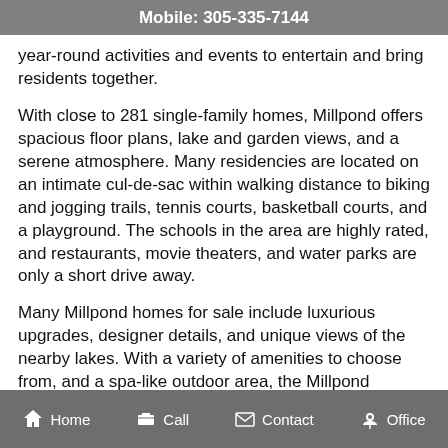Mobile: 305-335-7144
year-round activities and events to entertain and bring residents together.
With close to 281 single-family homes, Millpond offers spacious floor plans, lake and garden views, and a serene atmosphere. Many residencies are located on an intimate cul-de-sac within walking distance to biking and jogging trails, tennis courts, basketball courts, and a playground. The schools in the area are highly rated, and restaurants, movie theaters, and water parks are only a short drive away.
Many Millpond homes for sale include luxurious upgrades, designer details, and unique views of the nearby lakes. With a variety of amenities to choose from, and a spa-like outdoor area, the Millpond community is truly the best of both worlds.
Home   Call   Contact   Office